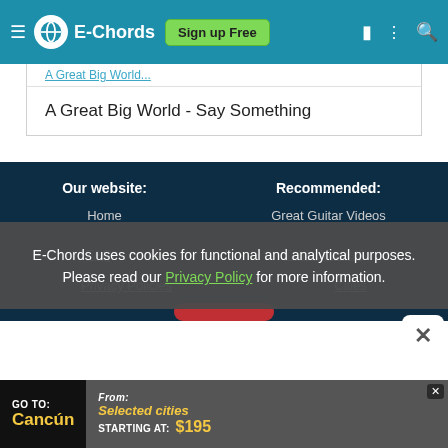E-Chords | Sign up Free
A Great Big World - Say Something
Our website:
Recommended:
Home
Great Guitar Videos
FAQ
Privacy Policies
Cities
E-Chords uses cookies for functional and analytical purposes. Please read our Privacy Policy for more information.
[Figure (infographic): Travel advertisement banner: GO TO: Cancún | FROM: Selected cities STARTING AT: $195]